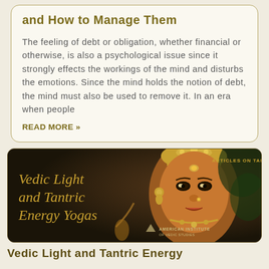and How to Manage Them
The feeling of debt or obligation, whether financial or otherwise, is also a psychological issue since it strongly effects the workings of the mind and disturbs the emotions. Since the mind holds the notion of debt, the mind must also be used to remove it. In an era when people
READ MORE »
[Figure (illustration): Dark background illustration with a classical Indian deity face decorated with jewelry and crown, golden ornamental styling]
ARTICLES ON TANTRA
Vedic Light and Tantric Energy Yogas
Vedic Light and Tantric Energy